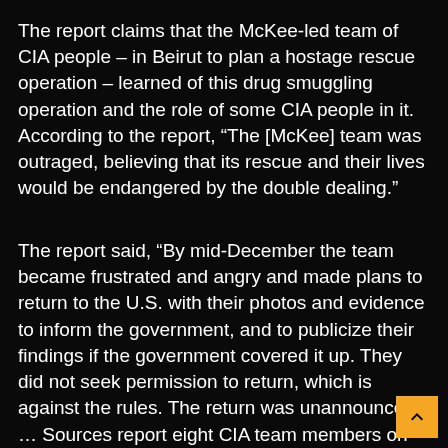The report claims that the McKee-led team of CIA people – in Beirut to plan a hostage rescue operation – learned of this drug smuggling operation and the role of some CIA people in it. According to the report, “The [McKee] team was outraged, believing that its rescue and their lives would be endangered by the double dealing.”
The report said, “By mid-December the team became frustrated and angry and made plans to return to the U.S. with their photos and evidence to inform the government, and to publicize their findings if the government covered it up. They did not seek permission to return, which is against the rules. The return was unannounced. … Sources report eight CIA team members on that flight, but we only have identified the five names reported herein.”